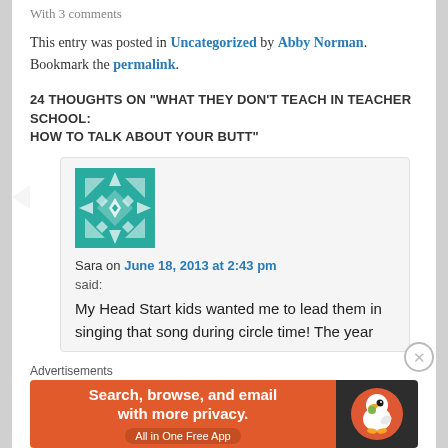With 3 comments
This entry was posted in Uncategorized by Abby Norman. Bookmark the permalink.
24 THOUGHTS ON "WHAT THEY DON'T TEACH IN TEACHER SCHOOL: HOW TO TALK ABOUT YOUR BUTT"
[Figure (illustration): Teal geometric quilt pattern avatar for user Sara]
Sara on June 18, 2013 at 2:43 pm
said:
My Head Start kids wanted me to lead them in singing that song during circle time! The year
Advertisements
[Figure (other): DuckDuckGo advertisement banner: Search, browse, and email with more privacy. All in One Free App]